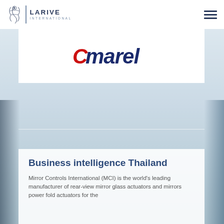Larive International
[Figure (logo): Cmarel logo — italic text with red C chevron and dark blue 'marel' text]
[Figure (photo): Background photo — light blue-gray blurred automotive/industrial scene]
Business intelligence Thailand
Mirror Controls International (MCI) is the world's leading manufacturer of rear-view mirror glass actuators and mirrors power fold actuators for the